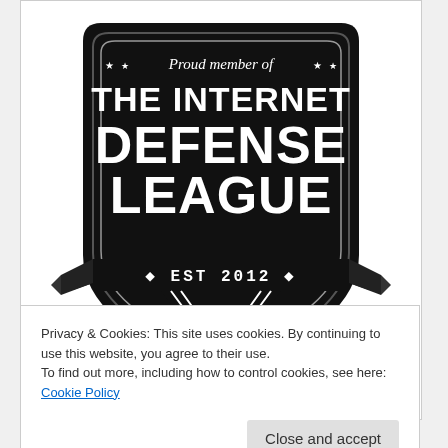[Figure (logo): Internet Defense League badge/shield logo: black shield shape with text 'Proud member of THE INTERNET DEFENSE LEAGUE EST 2012', with stars and banner ribbons.]
Privacy & Cookies: This site uses cookies. By continuing to use this website, you agree to their use.
To find out more, including how to control cookies, see here: Cookie Policy
Close and accept
Tool for Educators